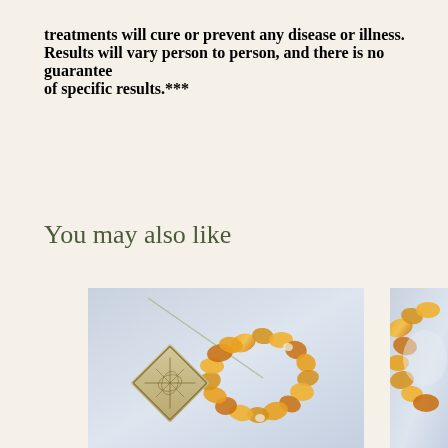treatments will cure or prevent any disease or illness. Results will vary person to person, and there is no guarantee of specific results.***
You may also like
[Figure (photo): Photo of an amber bead bracelet with a square charm featuring a botanical/floral engraving, on a light blue-gray background]
[Figure (photo): Partial photo of an amber bead bracelet on a light blue-gray background (right side, partially cropped)]